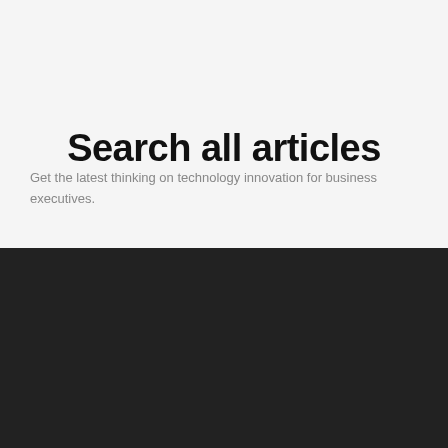Search all articles
Get the latest thinking on technology innovation for business executives.